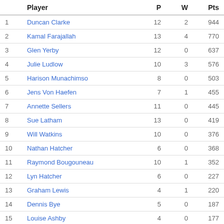|  | Player | P | W | Pts |
| --- | --- | --- | --- | --- |
| 1 | Duncan Clarke | 12 | 2 | 944 |
| 2 | Kamal Farajallah | 13 | 4 | 770 |
| 3 | Glen Yerby | 12 | 0 | 637 |
| 4 | Julie Ludlow | 10 | 3 | 576 |
| 5 | Harison Munachimso | 8 | 0 | 503 |
| 6 | Jens Von Haefen | 7 | 1 | 455 |
| 7 | Annette Sellers | 11 | 0 | 445 |
| 8 | Sue Latham | 13 | 0 | 419 |
| 9 | Will Watkins | 10 | 0 | 376 |
| 10 | Nathan Hatcher | 6 | 0 | 368 |
| 11 | Raymond Bougouneau | 10 | 1 | 352 |
| 12 | Lyn Hatcher | 6 | 0 | 227 |
| 13 | Graham Lewis | 4 | 1 | 220 |
| 14 | Dennis Bye | 5 | 0 | 187 |
| 15 | Louise Ashby | 4 | 0 | 177 |
| 16 | Adam Tyreman | 4 | 1 | 171 |